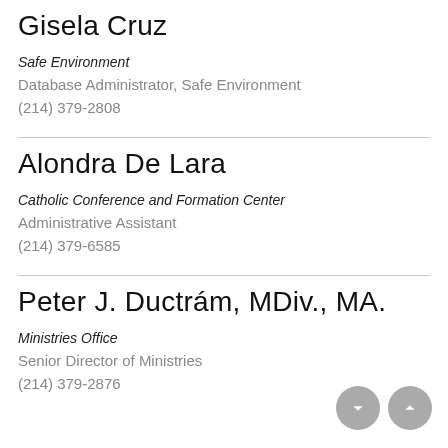Gisela Cruz
Safe Environment
Database Administrator, Safe Environment
(214) 379-2808
Alondra De Lara
Catholic Conference and Formation Center
Administrative Assistant
(214) 379-6585
Peter J. Ductrám, MDiv., MA.
Ministries Office
Senior Director of Ministries
(214) 379-2876
[Figure (other): Navigation buttons: down arrow and up arrow (grey circles)]